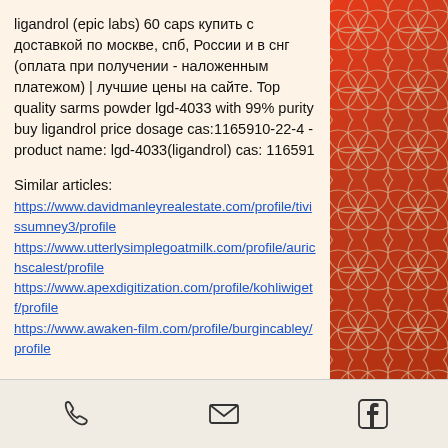ligandrol (epic labs) 60 caps купить с доставкой по москве, спб, России и в снг (оплата при получении - наложенным платежом) | лучшие цены на сайте. Top quality sarms powder lgd-4033 with 99% purity buy ligandrol price dosage cas:1165910-22-4 - product name: lgd-4033(ligandrol) cas: 116591
Similar articles:
https://www.davidmanleyrealestate.com/profile/tivissumney3/profile
https://www.utterlysimplegoatmilk.com/profile/aurichscalest/profile
https://www.apexdigitization.com/profile/kohliwigetf/profile
https://www.awaken-film.com/profile/burgincabley/profile
[Figure (illustration): Decorative red/orange panel on the right side with a flower of life geometric pattern in gold/beige]
Phone | Email | Facebook icons